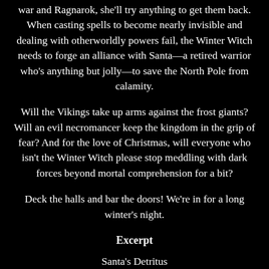war and Ragnarok, she'll try anything to get them back. When casting spells to become nearly invisible and dealing with otherworldly powers fail, the Winter Witch needs to forge an alliance with Santa—a retired warrior who's anything but jolly—to save the North Pole from calamity.
Will the Vikings take up arms against the frost giants? Will an evil necromancer keep the kingdom in the grip of fear? And for the love of Christmas, will everyone who isn't the Winter Witch please stop meddling with dark forces beyond mortal comprehension for a bit?
Deck the halls and bar the doors! We're in for a long winter's night.
Excerpt
Santa's Detritus